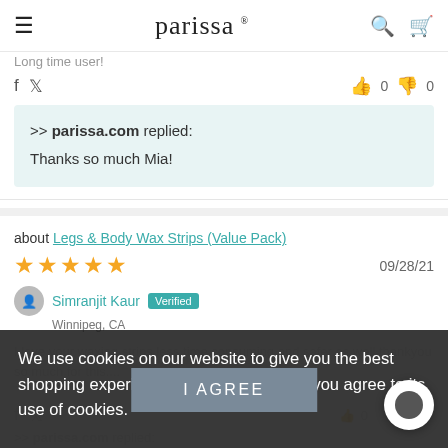parissa
Long time user!
>> parissa.com replied:
Thanks so much Mia!
about Legs & Body Wax Strips (Value Pack)
★★★★★  09/28/21
Simranjit Kaur  Verified  Winnipeg, CA
I love your waxing strips less time consuming and safer as well thankyou so much for this....
We use cookies on our website to give you the best shopping experience. By using this site, you agree to its use of cookies.
I AGREE
>> parissa.com replied: